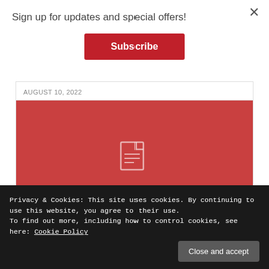Sign up for updates and special offers!
Subscribe
AUGUST 10, 2022
[Figure (illustration): Red background block with a document/file icon centered in white outline style]
Privacy & Cookies: This site uses cookies. By continuing to use this website, you agree to their use.
To find out more, including how to control cookies, see here: Cookie Policy
Close and accept